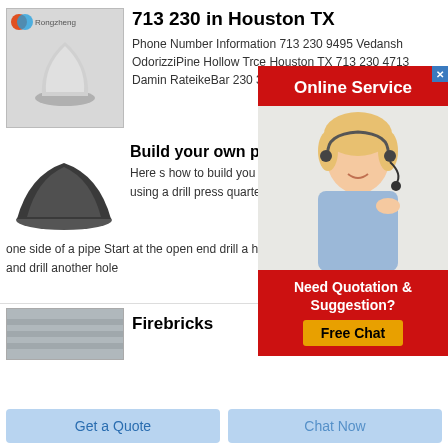[Figure (photo): White powder mound on a display stand, with Rongzheng logo in top-left corner]
713 230 in Houston TX
Phone Number Information 713 230 9495 Vedansh OdorizziPine Hollow Trce Houston TX 713 230 4713 Damin RateikeBar 230 3755
[Figure (photo): Online Service advertisement with woman wearing headset, red background, and Free Chat button]
[Figure (photo): Dark powder/material pile]
Build your own p
Here s how to build you end cap on one end of  Next using a drill press quarter inch drill bit drill one side of a pipe Start at the open end drill a hole the toward the opposite end and drill another hole
Chat Online
[Figure (photo): Firebricks image, partially visible]
Firebricks
Get a Quote
Chat Now